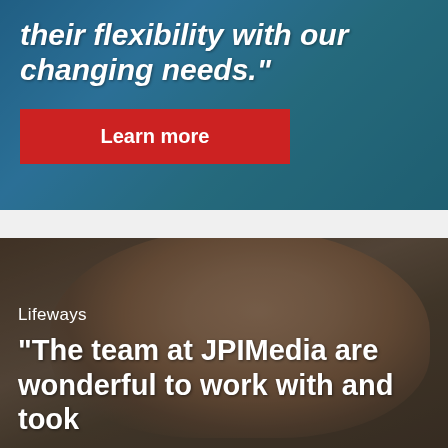their flexibility with our changing needs."
Learn more
[Figure (photo): Background photo of trees/foliage with blue tinted overlay, forming the top hero section background.]
Lifeways
[Figure (photo): Close-up photo of a smiling woman with glasses and dark hair, with a dark olive/brown tinted overlay. Bottom hero section.]
"The team at JPIMedia are wonderful to work with and took